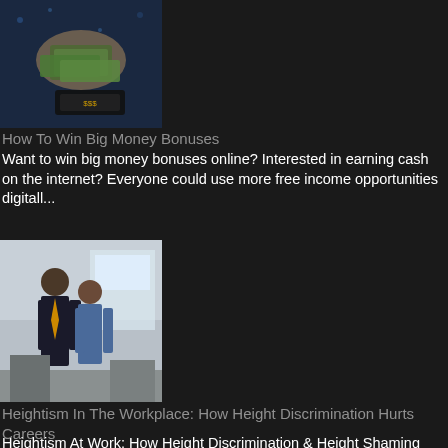[Figure (photo): Thumbnail image showing hands with money/cash, dark blue background]
How To Win Big Money Bonuses
Want to win big money bonuses online? Interested in earning cash on the internet? Everyone could use more free income opportunities digitall...
[Figure (photo): Thumbnail image showing two businessmen standing in an office]
Heightism In The Workplace: How Height Discrimination Hurts Careers
Heightism At Work: How Height Discrimination & Height Shaming Creates  Shorter Career Opportunities, Lower Paychecks, Smaller Salaries...
[Figure (illustration): Thumbnail image showing a cartoon slot machine illustration]
How To Bet Big On Online Businesses
The online market is growing at a rapid pace compared to other industries worldwide. Everything is digital, so it's the best place to be...